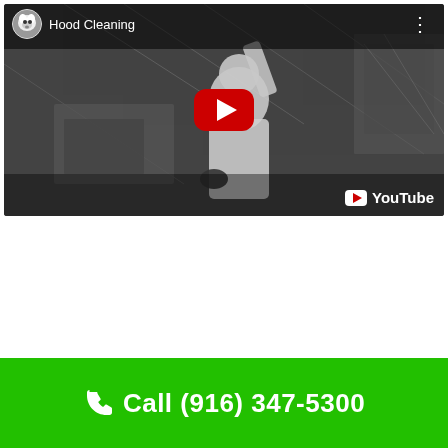[Figure (screenshot): YouTube video embed showing a worker in white protective suit cleaning a kitchen exhaust hood duct, with a red YouTube play button overlay and 'Hood Cleaning' title in the top bar with a small dog avatar.]
Call (916) 347-5300